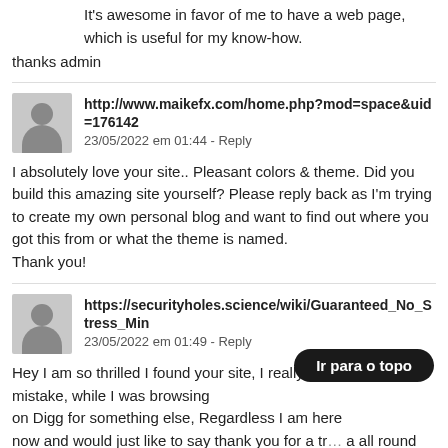It's awesome in favor of me to have a web page, which is useful for my know-how.
thanks admin
http://www.maikefx.com/home.php?mod=space&uid=176142
23/05/2022 em 01:44 - Reply
I absolutely love your site.. Pleasant colors & theme. Did you build this amazing site yourself? Please reply back as I'm trying to create my own personal blog and want to find out where you got this from or what the theme is named.
Thank you!
https://securityholes.science/wiki/Guaranteed_No_Stress_Min
23/05/2022 em 01:49 - Reply
Hey I am so thrilled I found your site, I really found you by mistake, while I was browsing
on Digg for something else, Regardless I am here
now and would just like to say thank you for a tr... a all round entertaining blog
(I also love the theme/design). I don't have time to go through it all
Ir para o topo